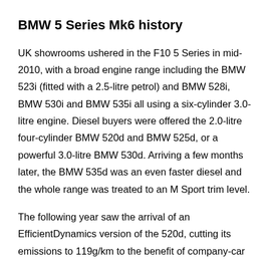BMW 5 Series Mk6 history
UK showrooms ushered in the F10 5 Series in mid-2010, with a broad engine range including the BMW 523i (fitted with a 2.5-litre petrol) and BMW 528i, BMW 530i and BMW 535i all using a six-cylinder 3.0-litre engine. Diesel buyers were offered the 2.0-litre four-cylinder BMW 520d and BMW 525d, or a powerful 3.0-litre BMW 530d. Arriving a few months later, the BMW 535d was an even faster diesel and the whole range was treated to an M Sport trim level.
The following year saw the arrival of an EfficientDynamics version of the 520d, cutting its emissions to 119g/km to the benefit of company-car